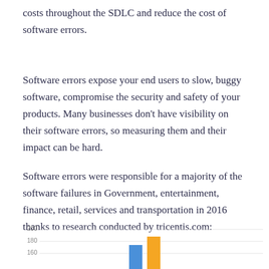costs throughout the SDLC and reduce the cost of software errors.
Software errors expose your end users to slow, buggy software, compromise the security and safety of your products. Many businesses don't have visibility on their software errors, so measuring them and their impact can be hard.
Software errors were responsible for a majority of the software failures in Government, entertainment, finance, retail, services and transportation in 2016 thanks to research conducted by tricentis.com:
[Figure (bar-chart): Partial bar chart showing bars at bottom of page; y-axis gridlines visible at 160, 180, 200. At least two bars visible: one blue and one yellow/orange bar reaching approximately 185.]